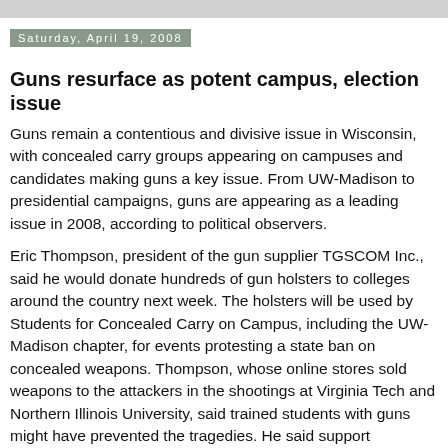Saturday, April 19, 2008
Guns resurface as potent campus, election issue
Guns remain a contentious and divisive issue in Wisconsin, with concealed carry groups appearing on campuses and candidates making guns a key issue. From UW-Madison to presidential campaigns, guns are appearing as a leading issue in 2008, according to political observers.
Eric Thompson, president of the gun supplier TGSCOM Inc., said he would donate hundreds of gun holsters to colleges around the country next week. The holsters will be used by Students for Concealed Carry on Campus, including the UW-Madison chapter, for events protesting a state ban on concealed weapons. Thompson, whose online stores sold weapons to the attackers in the shootings at Virginia Tech and Northern Illinois University, said trained students with guns might have prevented the tragedies. He said support